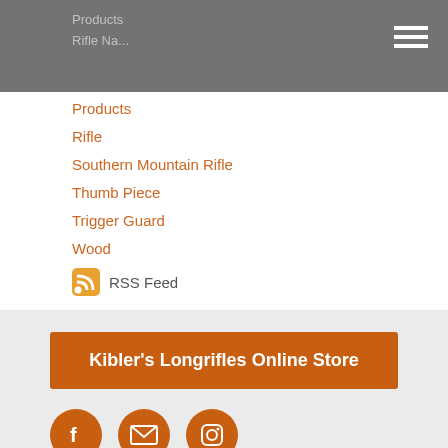Products
Rifle
Southern Mountain Rifle
Thumb Piece
Trigger Guard
Wood
Products
Rifle
Southern Mountain Rifle
Thumb Piece
Trigger Guard
Wood
RSS Feed
Kibler's Longrifles Online Store
[Figure (infographic): Three orange circular social media icons: Facebook, Email/Envelope, Instagram]
HOURS